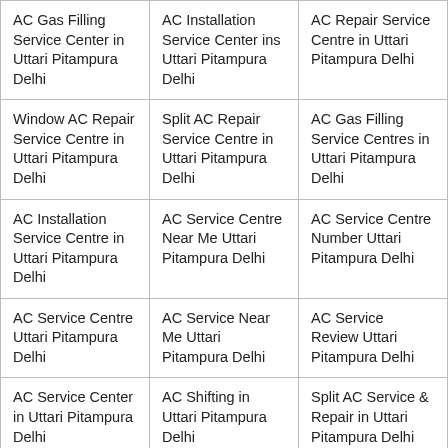| AC Gas Filling Service Center in Uttari Pitampura Delhi | AC Installation Service Center ins Uttari Pitampura Delhi | AC Repair Service Centre in Uttari Pitampura Delhi |
| Window AC Repair Service Centre in Uttari Pitampura Delhi | Split AC Repair Service Centre in Uttari Pitampura Delhi | AC Gas Filling Service Centres in Uttari Pitampura Delhi |
| AC Installation Service Centre in Uttari Pitampura Delhi | AC Service Centre Near Me Uttari Pitampura Delhi | AC Service Centre Number Uttari Pitampura Delhi |
| AC Service Centre Uttari Pitampura Delhi | AC Service Near Me Uttari Pitampura Delhi | AC Service Review Uttari Pitampura Delhi |
| AC Service Center in Uttari Pitampura Delhi | AC Shifting in Uttari Pitampura Delhi | Split AC Service & Repair in Uttari Pitampura Delhi |
| Domestic AC… | Split AC Service in… | Split AC Repair in… |